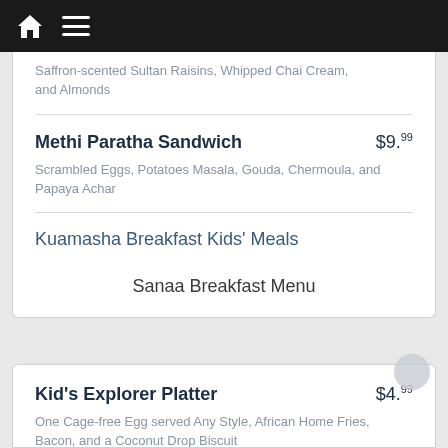Navigation bar with home and menu icons
Saffron-scented Sultan Raisins, Whipped Chai Cream, and Almonds
Methi Paratha Sandwich  $9.99
Scrambled Eggs, Potatoes Masala, Gouda, Chermoula, and Papaya Achar
Kuamasha Breakfast Kids' Meals
Sanaa Breakfast Menu
Kid's Explorer Platter  $4.99
One Cage-free Egg served Any Style, African Home Fries, Bacon, and a Coconut Drop Biscuit
Kid Mu...  $6.29